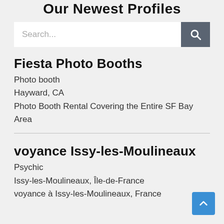Our Newest Profiles
[Figure (screenshot): Search bar with text input and dark gray search button containing a magnifying glass icon]
Fiesta Photo Booths
Photo booth
Hayward, CA
Photo Booth Rental Covering the Entire SF Bay Area
voyance Issy-les-Moulineaux
Psychic
Issy-les-Moulineaux, Île-de-France
voyance à Issy-les-Moulineaux, France